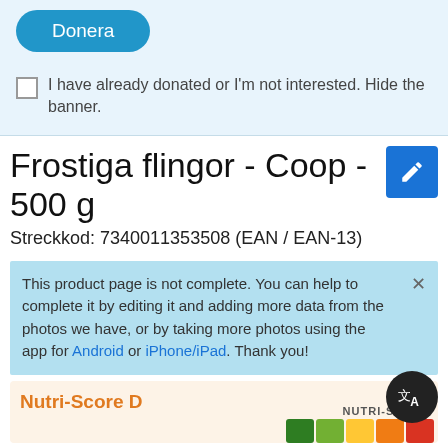[Figure (screenshot): Donation banner with a blue 'Donera' button and a checkbox option to hide the banner]
Frostiga flingor - Coop - 500 g
Streckkod: 7340011353508 (EAN / EAN-13)
This product page is not complete. You can help to complete it by editing it and adding more data from the photos we have, or by taking more photos using the app for Android or iPhone/iPad. Thank you!
Nutri-Score D